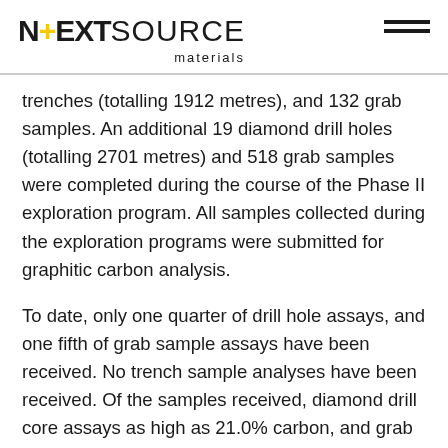NEXTSOURCE materials
trenches (totalling 1912 metres), and 132 grab samples. An additional 19 diamond drill holes (totalling 2701 metres) and 518 grab samples were completed during the course of the Phase II exploration program. All samples collected during the exploration programs were submitted for graphitic carbon analysis.
To date, only one quarter of drill hole assays, and one fifth of grab sample assays have been received. No trench sample analyses have been received. Of the samples received, diamond drill core assays as high as 21.0% carbon, and grab samples